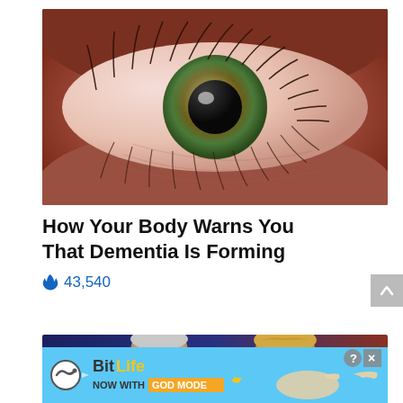[Figure (photo): Extreme close-up macro photograph of a human eye with hazel/green iris and dark pupil, surrounded by skin with visible eyelashes and eyelid texture]
How Your Body Warns You That Dementia Is Forming
🔥 43,540
[Figure (photo): Two political figures (Biden and Trump) side by side on a dark background]
[Figure (screenshot): BitLife mobile game advertisement banner showing logo, snake icon, and 'NOW WITH GOD MODE' text on blue background with hand pointing and close button]